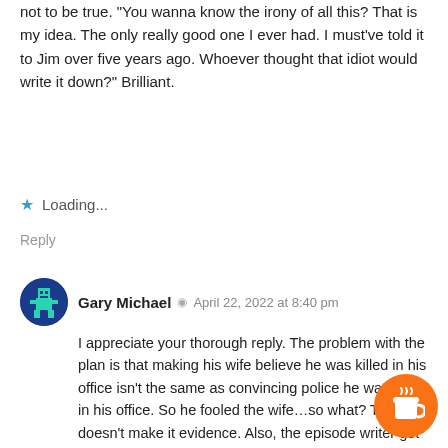not to be true. "You wanna know the irony of all this? That is my idea. The only really good one I ever had. I must've told it to Jim over five years ago. Whoever thought that idiot would write it down?" Brilliant.
★ Loading...
Reply
Gary Michael  ◉  April 22, 2022 at 8:40 pm
I appreciate your thorough reply. The problem with the plan is that making his wife believe he was killed in his office isn't the same as convincing police he was killed in his office. So he fooled the wife…so what? That doesn't make it evidence. Also, the episode writer got really lazy with the other evidence. For example, Columbo says he checked Cassidy's bank account and saw the quick withdraw and deposit of the ransom money for the 2nd murder victim. But he never would have been permitted access to that account because it has no bearing to the first mu... judge would have to believe the account has ev... crime, which does not exist for the first murder. An... second murder is out of Columbo's jurisdiction. I found it